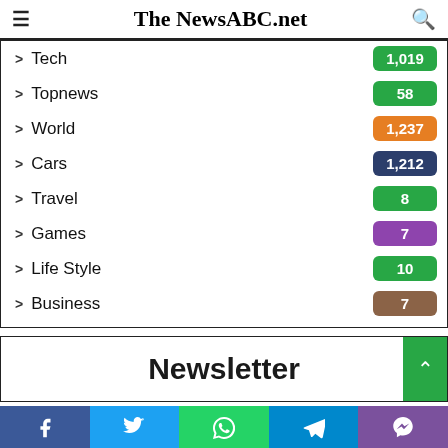The NewsABC.net
Tech 1,019
Topnews 58
World 1,237
Cars 1,212
Travel 8
Games 7
Life Style 10
Business 7
Newsletter
Facebook Twitter WhatsApp Telegram Viber